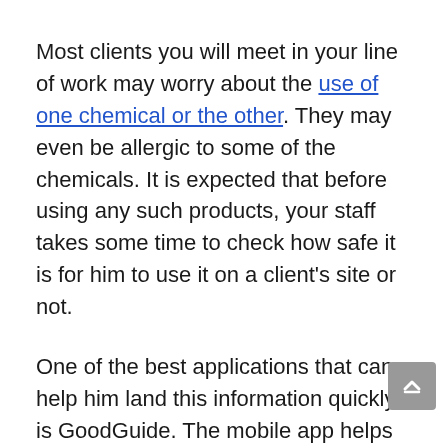Most clients you will meet in your line of work may worry about the use of one chemical or the other. They may even be allergic to some of the chemicals. It is expected that before using any such products, your staff takes some time to check how safe it is for him to use it on a client's site or not.
One of the best applications that can help him land this information quickly is GoodGuide. The mobile app helps you access information about several products before using them. It can help set your company apart from others.